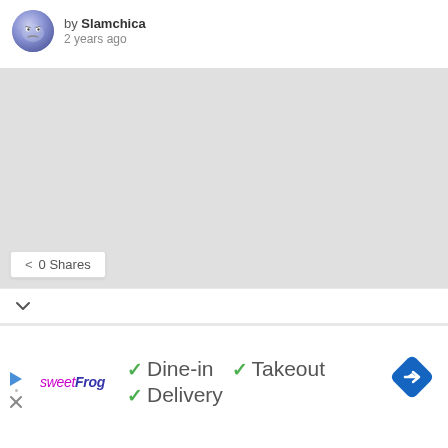by Slamchica
2 years ago
[Figure (map): Gray placeholder map area]
0 Shares
[Figure (screenshot): Bottom info bar showing sweetFrog logo, Dine-in, Takeout, Delivery checkmarks, and navigation diamond icon]